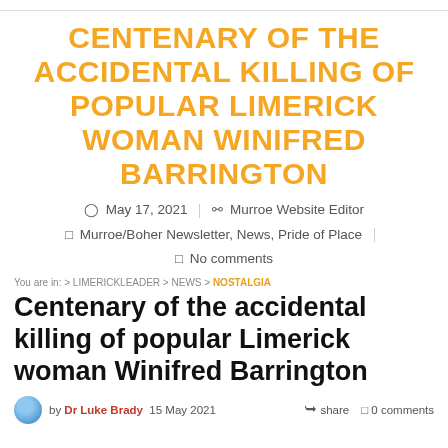CENTENARY OF THE ACCIDENTAL KILLING OF POPULAR LIMERICK WOMAN WINIFRED BARRINGTON
May 17, 2021 | Murroe Website Editor | Murroe/Boher Newsletter, News, Pride of Place | No comments
You are in: > LIMERICKLEADER > NEWS > NOSTALGIA
Centenary of the accidental killing of popular Limerick woman Winifred Barrington
by Dr Luke Brady 15 May 2021   share  0 comments